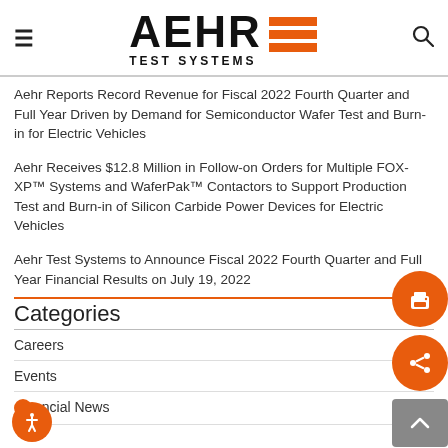AEHR TEST SYSTEMS
Aehr Reports Record Revenue for Fiscal 2022 Fourth Quarter and Full Year Driven by Demand for Semiconductor Wafer Test and Burn-in for Electric Vehicles
Aehr Receives $12.8 Million in Follow-on Orders for Multiple FOX-XP™ Systems and WaferPak™ Contactors to Support Production Test and Burn-in of Silicon Carbide Power Devices for Electric Vehicles
Aehr Test Systems to Announce Fiscal 2022 Fourth Quarter and Full Year Financial Results on July 19, 2022
Categories
Careers
Events
Financial News